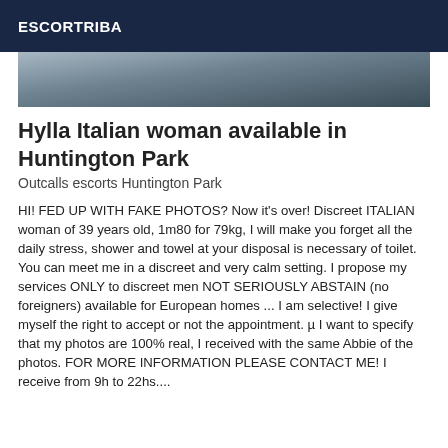ESCORTRIBA
[Figure (photo): Partial photo strip — dark grey textured background, appears to be a cropped image]
Hylla Italian woman available in Huntington Park
Outcalls escorts Huntington Park
HI! FED UP WITH FAKE PHOTOS? Now it's over! Discreet ITALIAN woman of 39 years old, 1m80 for 79kg, I will make you forget all the daily stress, shower and towel at your disposal is necessary of toilet. You can meet me in a discreet and very calm setting. I propose my services ONLY to discreet men NOT SERIOUSLY ABSTAIN (no foreigners) available for European homes ... I am selective! I give myself the right to accept or not the appointment. µ I want to specify that my photos are 100% real, I received with the same Abbie of the photos. FOR MORE INFORMATION PLEASE CONTACT ME! I receive from 9h to 22hs....